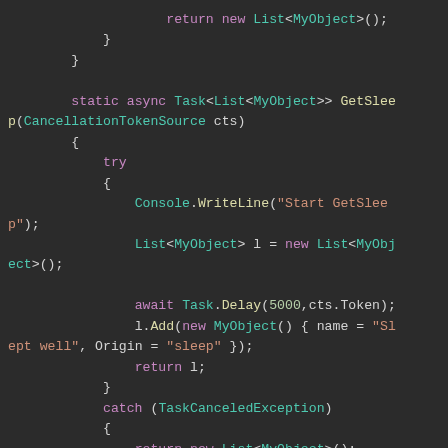[Figure (screenshot): Code editor screenshot showing C# async method with try/catch block. Code includes return new List<MyObject>(), closing braces, static async Task<List<MyObject>> GetSleep(CancellationTokenSource cts) method signature, try block with Console.WriteLine, List initialization, await Task.Delay(5000,cts.Token), l.Add with new MyObject, return l, closing brace, catch (TaskCanceledException) block with return new List<MyObject>()]